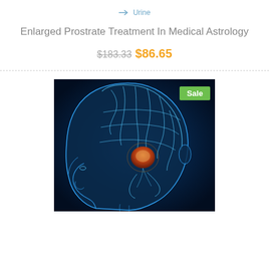→ Urine
Enlarged Prostrate Treatment In Medical Astrology
$183.33 $86.65
[Figure (photo): Medical illustration of a human head in profile (x-ray style, blue glowing effect) showing brain anatomy with a highlighted prostate-like orange organ in the center. A green 'Sale' badge is overlaid in the top-right corner of the image.]